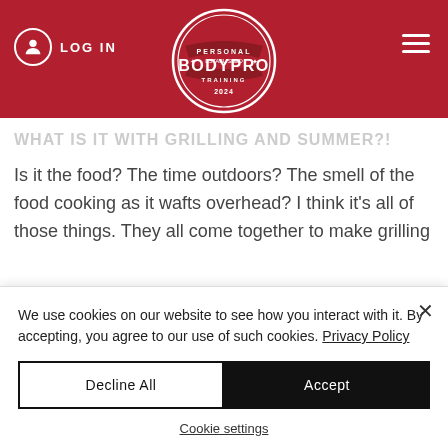BODYPRO Personal Training — LOG IN
WHAT IS IT WITH GRILLING AND SUMMER?!
Is it the food? The time outdoors? The smell of the food cooking as it wafts overhead? I think it's all of those things. They all come together to make grilling
We use cookies on our website to see how you interact with it. By accepting, you agree to our use of such cookies. Privacy Policy
Decline All
Accept
Cookie settings